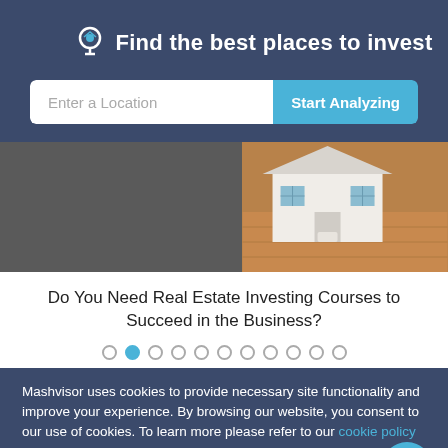Find the best places to invest
Enter a Location
Start Analyzing
[Figure (photo): Hero image showing a grey/dark background on the left and a miniature model house on a wooden surface on the right]
Do You Need Real Estate Investing Courses to Succeed in the Business?
Mashvisor uses cookies to provide necessary site functionality and improve your experience. By browsing our website, you consent to our use of cookies. To learn more please refer to our cookie policy
Accept
Reject